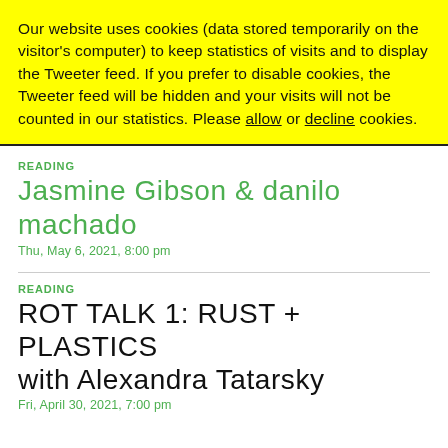Our website uses cookies (data stored temporarily on the visitor's computer) to keep statistics of visits and to display the Tweeter feed. If you prefer to disable cookies, the Tweeter feed will be hidden and your visits will not be counted in our statistics. Please allow or decline cookies.
READING
Jasmine Gibson & danilo machado
Thu, May 6, 2021, 8:00 pm
READING
ROT TALK 1: RUST + PLASTICS with Alexandra Tatarsky
Fri, April 30, 2021, 7:00 pm